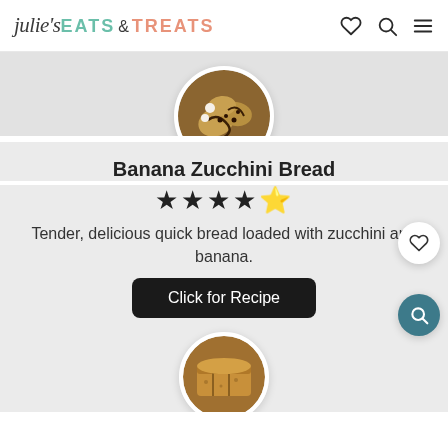julie's EATS & TREATS
[Figure (photo): Circular cropped photo of chocolate chip cookies on a wooden board, partially visible at top of page]
Banana Zucchini Bread
★★★★☆
Tender, delicious quick bread loaded with zucchini and banana.
Click for Recipe
[Figure (photo): Circular cropped photo of sliced banana zucchini bread, partially visible at bottom of page]